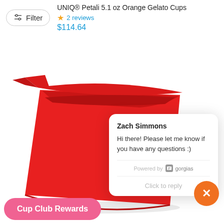UNIQ® Petali 5.1 oz Orange Gelato Cups
★ 2 reviews
$114.64
[Figure (photo): Red/orange angled gelato cup product photo on white background]
Zach Simmons
Hi there! Please let me know if you have any questions :)
Powered by gorgias
Click to reply
Cup Club Rewards